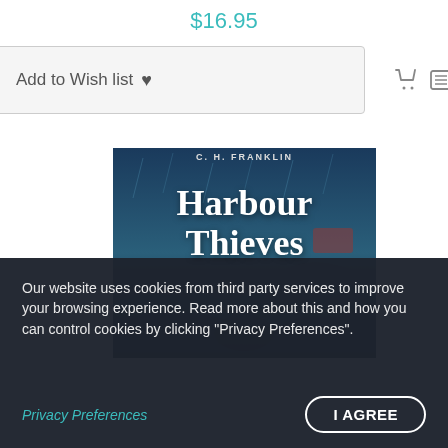$16.95
Add to Wish list ♥
[Figure (photo): Book cover of 'Harbour Thieves' showing title text in large white serif font over a dark blue stormy scene with a figure in the rain]
Our website uses cookies from third party services to improve your browsing experience. Read more about this and how you can control cookies by clicking "Privacy Preferences".
Privacy Preferences
I AGREE